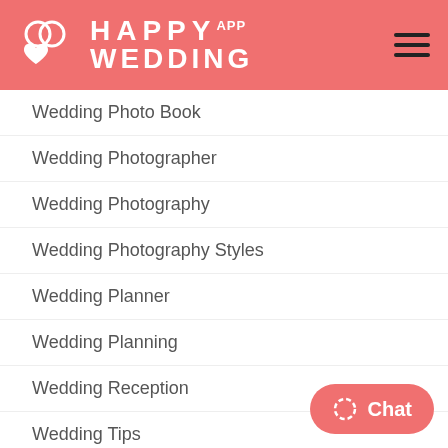Happy Wedding App
Wedding Photo Book
Wedding Photographer
Wedding Photography
Wedding Photography Styles
Wedding Planner
Wedding Planning
Wedding Reception
Wedding Tips
Wedding Trends
Wedding Vendors